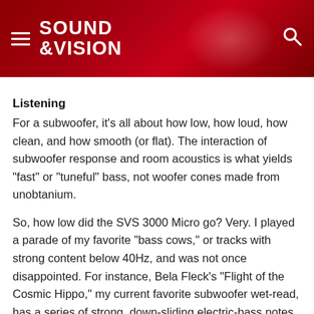SOUND &VISION
Listening
For a subwoofer, it's all about how low, how loud, how clean, and how smooth (or flat). The interaction of subwoofer response and room acoustics is what yields "fast" or "tuneful" bass, not woofer cones made from unobtanium.
So, how low did the SVS 3000 Micro go? Very. I played a parade of my favorite "bass cows," or tracks with strong content below 40Hz, and was not once disappointed. For instance, Bela Fleck's "Flight of the Cosmic Hippo," my current favorite subwoofer wet-read, has a series of strong, down-sliding electric-bass notes that cover the range from about 45 Hz